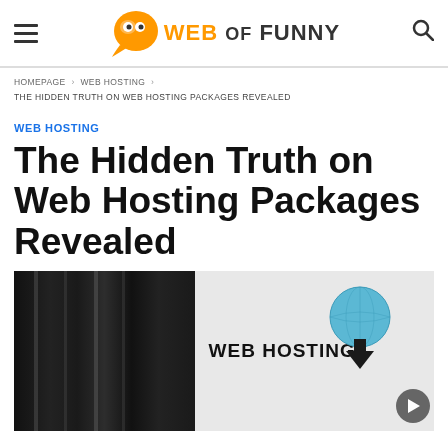Web of Funny
HOMEPAGE > WEB HOSTING > THE HIDDEN TRUTH ON WEB HOSTING PACKAGES REVEALED
WEB HOSTING
The Hidden Truth on Web Hosting Packages Revealed
[Figure (photo): Web hosting themed banner image showing dark server racks on the left and white background with 'WEB HOSTING' text, a blue globe graphic, arrows, and a play button on the right]